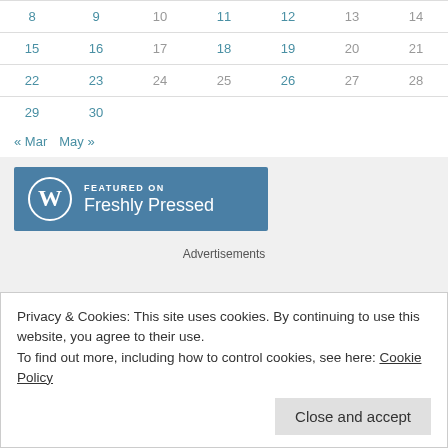| 8 | 9 | 10 | 11 | 12 | 13 | 14 |
| 15 | 16 | 17 | 18 | 19 | 20 | 21 |
| 22 | 23 | 24 | 25 | 26 | 27 | 28 |
| 29 | 30 |  |  |  |  |  |
« Mar  May »
[Figure (logo): Featured on WordPress Freshly Pressed badge with WordPress logo on blue background]
Advertisements
Privacy & Cookies: This site uses cookies. By continuing to use this website, you agree to their use.
To find out more, including how to control cookies, see here: Cookie Policy
Close and accept